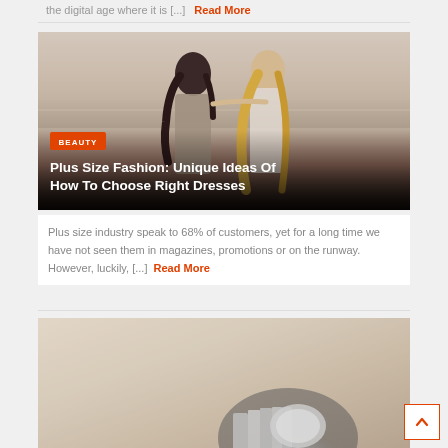the digital age where it is [...] Read More
[Figure (photo): Two women standing together outdoors near water at sunset, looking at each other, with BEAUTY badge and article title overlay]
Plus Size Fashion: Unique Ideas Of How To Choose Right Dresses
Plus size industry speak to 68% of customers, yet for a long time we have not seen them in magazines, promotions or on the runway. However, luckily, [...] Read More
[Figure (photo): Close-up of a silver watch on a cream/beige fabric background]